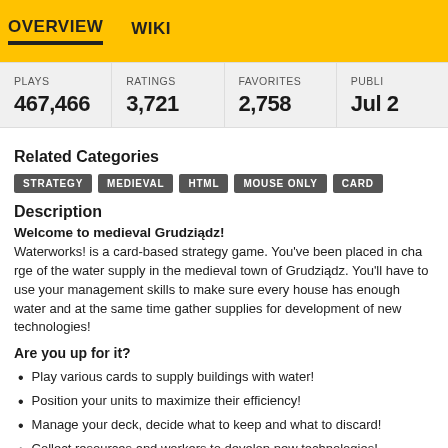OVERVIEW   WIKI
| PLAYS | RATINGS | FAVORITES | PUBLI... |
| --- | --- | --- | --- |
| 467,466 | 3,721 | 2,758 | Jul 2... |
Related Categories
STRATEGY  MEDIEVAL  HTML  MOUSE ONLY  CARD
Description
Welcome to medieval Grudziądz!
Waterworks! is a card-based strategy game. You've been placed in charge of the water supply in the medieval town of Grudziądz. You'll have to use your management skills to make sure every house has enough water and at the same time gather supplies for development of new technologies!
Are you up for it?
Play various cards to supply buildings with water!
Position your units to maximize their efficiency!
Manage your deck, decide what to keep and what to discard!
Collect resources and workers to develop new technologies!
Build a network of pipes and wells on town's map!